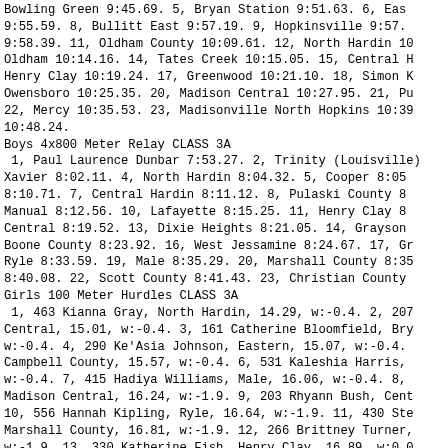Bowling Green 9:45.69. 5, Bryan Station 9:51.63. 6, East 9:55.59. 8, Bullitt East 9:57.19. 9, Hopkinsville 9:57. 9:58.39. 11, Oldham County 10:09.61. 12, North Hardin 10 Oldham 10:14.16. 14, Tates Creek 10:15.05. 15, Central H Henry Clay 10:19.24. 17, Greenwood 10:21.10. 18, Simon K Owensboro 10:25.35. 20, Madison Central 10:27.95. 21, Pu 22, Mercy 10:35.53. 23, Madisonville North Hopkins 10:3 10:48.24.
Boys 4x800 Meter Relay CLASS 3A
1, Paul Laurence Dunbar 7:53.27. 2, Trinity (Louisville) Xavier 8:02.11. 4, North Hardin 8:04.32. 5, Cooper 8:05 8:10.71. 7, Central Hardin 8:11.12. 8, Pulaski County 8 Manual 8:12.56. 10, Lafayette 8:15.25. 11, Henry Clay 8 Central 8:19.52. 13, Dixie Heights 8:21.05. 14, Grayson Boone County 8:23.92. 16, West Jessamine 8:24.67. 17, G Ryle 8:33.59. 19, Male 8:35.29. 20, Marshall County 8:35 8:40.08. 22, Scott County 8:41.43. 23, Christian County
Girls 100 Meter Hurdles CLASS 3A
1, 463 Kianna Gray, North Hardin, 14.29, w:-0.4. 2, 207 Central, 15.01, w:-0.4. 3, 161 Catherine Bloomfield, Bry w:-0.4. 4, 290 Ke'Asia Johnson, Eastern, 15.07, w:-0.4. Campbell County, 15.57, w:-0.4. 6, 531 Kaleshia Harris, w:-0.4. 7, 415 Hadiya Williams, Male, 16.06, w:-0.4. 8, Madison Central, 16.24, w:-1.9. 9, 203 Rhyann Bush, Cent 10, 556 Hannah Kipling, Ryle, 16.64, w:-1.9. 11, 430 Ste Marshall County, 16.81, w:-1.9. 12, 266 Brittney Turner, w:-1.9. 13, 330 Katherine Fish, Henry Clay, 16.89, w:0.0 Marshall County, 16.94, w:-1.9. 15, 139 Ashya Watkins, B 16, 384 Kathryn Freel, Madison Southern, 17.03, w:-1.9. Jennings, Dixie Heights, 17.17, w:0.6. 18, 144 Marissa 17:27...